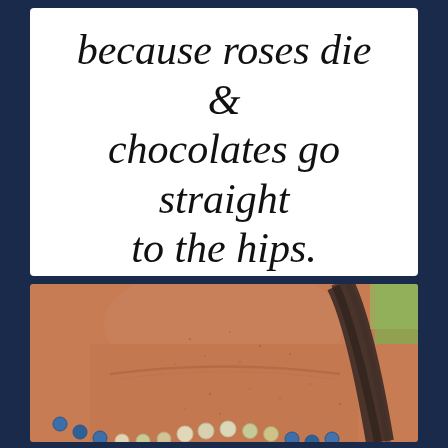because roses die & chocolates go straight to the hips.
[Figure (photo): Close-up photo of a person's neck and collarbone area wearing a beaded necklace with blue, cream, and yellow-green beads. Hair falls across the right side of the frame. Background shows a hint of greenery.]